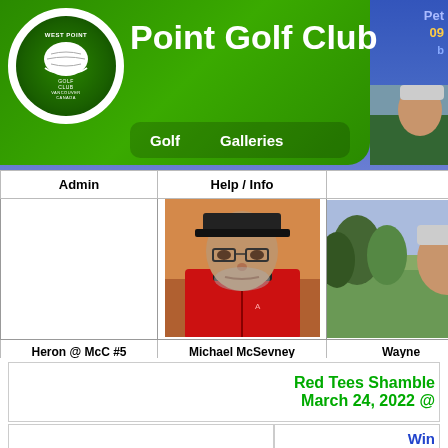Point Golf Club
[Figure (logo): West Point Golf Club circular logo with golf ball and wreath, green background]
Golf    Galleries
| Admin | Help / Info |  |
| --- | --- | --- |
|  | [photo of Michael McSevney] | [partial photo of Wayne] |
| Heron @ McC #5 | Michael McSevney | Wayne |
Red Tees Shamble March 24, 2022 @
Win